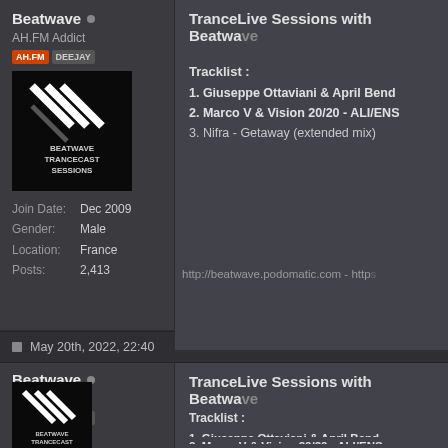Beatwave • AH.FM Addict AH.FM DEEJAY Join Date: Dec 2009 Gender: Male Location: France Posts: 2,413
TranceLive Sessions with Beatwave
Tracklist :
1. Giuseppe Ottaviani & April Bend...
2. Marco V & Vision 20/20 - ALI/ENS...
3. Nifra - Getaway (extended mix)
http://beatwave.podomatic.com - https...
May 20th, 2022, 22:40
Beatwave • AH.FM Addict AH.FM DEEJAY
TranceLive Sessions with Beatwave
Tracklist :
1. Giuseppe Ottaviani & April Bend...
2. Marco V & Vision 20/20 - ALI/ENS...
3. Nifra - Getaway (extended mix)
4. C-Systems - Every Star (extended...